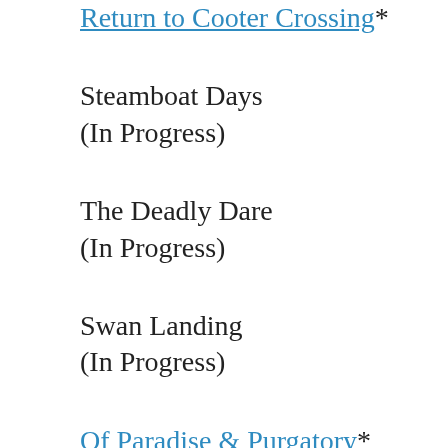Return to Cooter Crossing*
Steamboat Days
(In Progress)
The Deadly Dare
(In Progress)
Swan Landing
(In Progress)
Of Paradise & Purgatory*
(Santo Domingo Stories)
*Can be read as standalone stories, but fall into a greater series arc.